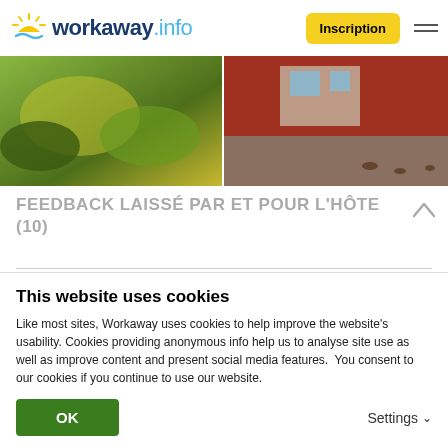[Figure (logo): Workaway.info logo with sun graphic]
[Figure (photo): Two outdoor photos side by side: garden with yellow flowers on left, red building exterior on right]
FEEDBACK LAISSÉ PAR ET POUR L'HÔTE (10)
08.03.2019
Laissé par le workawayer (Michael) pour l'hôte
This website uses cookies
Like most sites, Workaway uses cookies to help improve the website's usability. Cookies providing anonymous info help us to analyse site use as well as improve content and present social media features.  You consent to our cookies if you continue to use our website.
OK
Settings